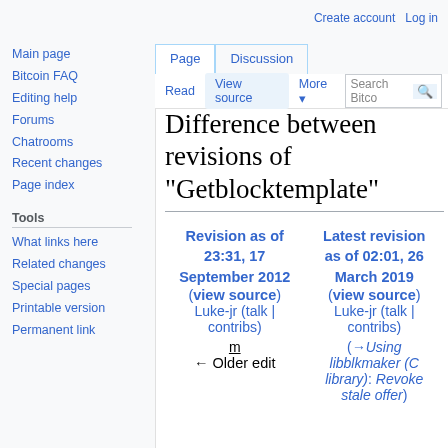Create account   Log in
Page | Discussion
Read | View source | More | Search Bitcoin
Difference between revisions of "Getblocktemplate"
Main page
Bitcoin FAQ
Editing help
Forums
Chatrooms
Recent changes
Page index
Tools
What links here
Related changes
Special pages
Printable version
Permanent link
| Revision as of 23:31, 17 September 2012 | Latest revision as of 02:01, 26 March 2019 |
| --- | --- |
| (view source) | (view source) |
| Luke-jr (talk | contribs) | Luke-jr (talk | contribs) |
| m
← Older edit | (→Using libblkmaker (C library): Revoke stale offer) |